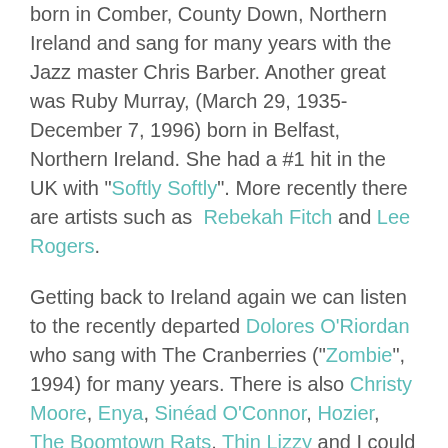born in Comber, County Down, Northern Ireland and sang for many years with the Jazz master Chris Barber. Another great was Ruby Murray, (March 29, 1935-December 7, 1996) born in Belfast, Northern Ireland. She had a #1 hit in the UK with "Softly Softly". More recently there are artists such as Rebekah Fitch and Lee Rogers.
Getting back to Ireland again we can listen to the recently departed Dolores O'Riordan who sang with The Cranberries ("Zombie", 1994) for many years. There is also Christy Moore, Enya, Sinéad O'Connor, Hozier, The Boomtown Rats, Thin Lizzy and I could go on but just one more Imelda May.
References;
https://en.wikipedia.org/wiki/Main_Page,
Secondhandsongs.com,